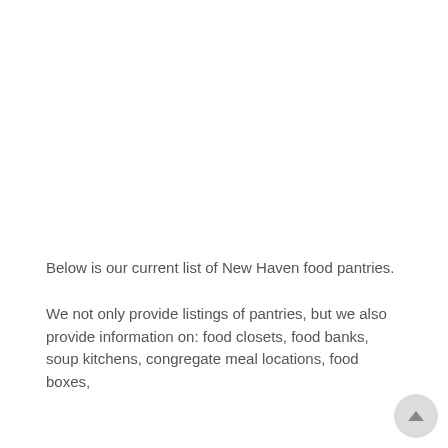Below is our current list of New Haven food pantries.
We not only provide listings of pantries, but we also provide information on: food closets, food banks, soup kitchens, congregate meal locations, food boxes,